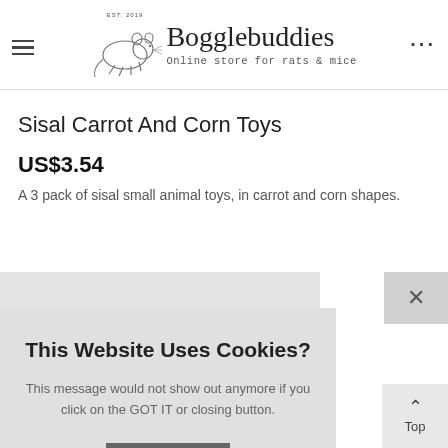Bogglebuddies — Online store for rats & mice
Sisal Carrot And Corn Toys
US$3.54
A 3 pack of sisal small animal toys, in carrot and corn shapes.
This Website Uses Cookies? This message would not show out anymore if you click on the GOT IT or closing button. Got It